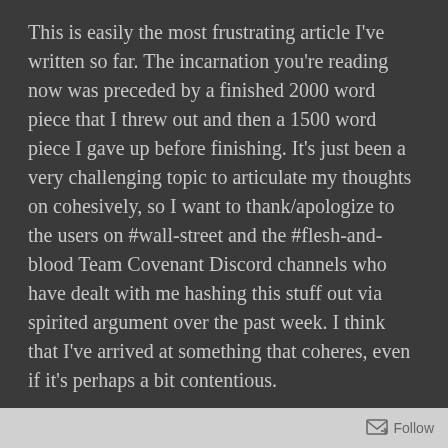This is easily the most frustrating article I've written so far. The incarnation you're reading now was preceded by a finished 2000 word piece that I threw out and then a 1500 word piece I gave up before finishing. It's just been a very challenging topic to articulate my thoughts on cohesively, so I want to thank/apologize to the users on #wall-street and the #flesh-and-blood Team Covenant Discord channels who have dealt with me hashing this stuff out via spirited argument over the past week. I think that I've arrived at something that coheres, even if it's perhaps a bit contentious.
Anyway, that's a hell of a preamble before I even get to the topic at hand. Like pretty much everyone else, I'm eyeing up what looks to be another supply shortage when Monarch finally drops at the very end of April. I wrote on
Follow